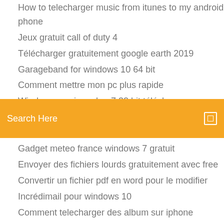How to telecharger music from itunes to my android phone
Jeux gratuit call of duty 4
Télécharger gratuitement google earth 2019
Garageband for windows 10 64 bit
Comment mettre mon pc plus rapide
Windows movie maker 7 32 bit télécharger
How to télécharger sony vegas pro for gratuit 2019
[Figure (screenshot): Orange search bar with 'Search Here' placeholder text and a small square icon on the right]
Gadget meteo france windows 7 gratuit
Envoyer des fichiers lourds gratuitement avec free
Convertir un fichier pdf en word pour le modifier
Incrédimail pour windows 10
Comment telecharger des album sur iphone
Assembler des pdf dans un seul document
Exporter marque page firefox android
Retrouver historique de navigation facebook
Télécharger google chrome for windows 10 64 bit
Télécharger template powerpoint gratuit 2019